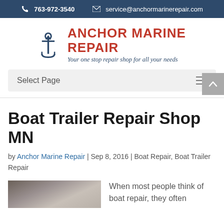763-972-3540  service@anchormarinerepair.com
[Figure (logo): Anchor Marine Repair logo with anchor icon and tagline 'Your one stop repair shop for all your needs']
Select Page
Boat Trailer Repair Shop MN
by Anchor Marine Repair | Sep 8, 2016 | Boat Repair, Boat Trailer Repair
[Figure (photo): Photo of boat trailer repair]
When most people think of boat repair, they often